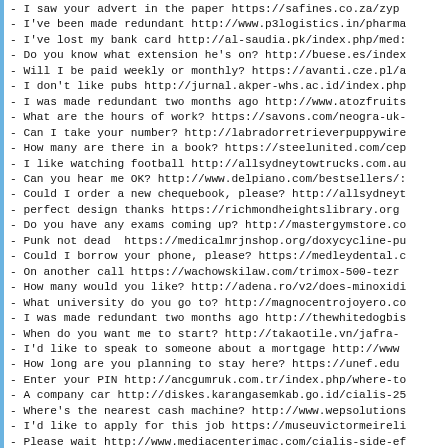- I saw your advert in the paper https://safines.co.za/zyp...
- I've been made redundant http://www.p3logistics.in/pharma...
- I've lost my bank card http://al-saudia.pk/index.php/med...
- Do you know what extension he's on? http://buese.es/index...
- Will I be paid weekly or monthly? https://avanti.cze.pl/a...
- I don't like pubs http://jurnal.akper-whs.ac.id/index.php...
- I was made redundant two months ago http://www.atozfruits...
- What are the hours of work? https://savons.com/neogra-uk-...
- Can I take your number? http://labradorretrieverpuppywire...
- How many are there in a book? https://steelunited.com/cep...
- I like watching football http://allsydneytowtrucks.com.au...
- Can you hear me OK? http://www.delpiano.com/bestsellers/...
- Could I order a new chequebook, please? http://allsydneyt...
- perfect design thanks https://richmondheightslibrary.org...
- Do you have any exams coming up? http://mastergymstore.co...
- Punk not dead  https://medicalmrjnshop.org/doxycycline-pu...
- Could I borrow your phone, please? https://medleydental.c...
- On another call https://wachowskilaw.com/trimox-500-tezr...
- How many would you like? http://adena.ro/v2/does-minoxidi...
- What university do you go to? http://magnocentrojoyero.co...
- I was made redundant two months ago http://thewhitedogbis...
- When do you want me to start? http://takaotile.vn/jafra-...
- I'd like to speak to someone about a mortgage http://www....
- How long are you planning to stay here? https://unef.edu...
- Enter your PIN http://ancgumruk.com.tr/index.php/where-to...
- A company car http://diskes.karangasemkab.go.id/cialis-25...
- Where's the nearest cash machine? http://www.wepsolutions...
- I'd like to apply for this job https://museuvictormeireli...
- Please wait http://www.mediacenterimac.com/cialis-side-ef...
- On another call http://www.wepsolutions.co.in/will-tyle...